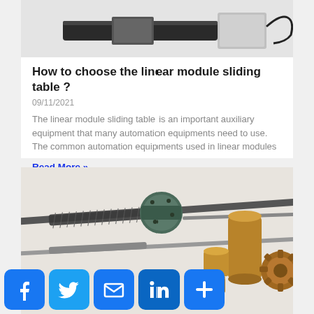[Figure (photo): Linear module/stepper motor actuator product photo, cropped top portion visible on white background]
How to choose the linear module sliding table ?
09/11/2021
The linear module sliding table is an important auxiliary equipment that many automation equipments need to use. The common automation equipments used in linear modules
Read More »
[Figure (photo): Lead screws, screw shafts, bronze/brass nuts and bushings product photo on white background]